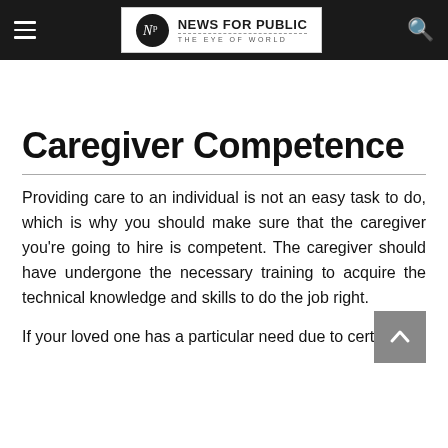NEWS FOR PUBLIC — THE EYE OF WORLD
Caregiver Competence
Providing care to an individual is not an easy task to do, which is why you should make sure that the caregiver you're going to hire is competent. The caregiver should have undergone the necessary training to acquire the technical knowledge and skills to do the job right.
If your loved one has a particular need due to certain